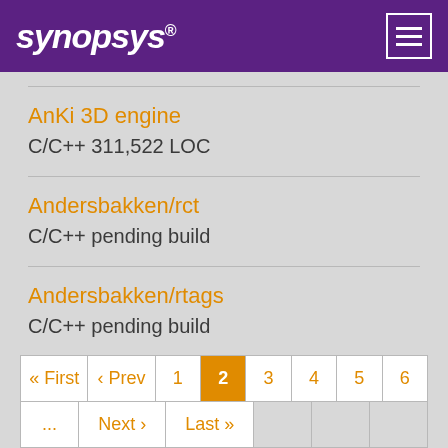[Figure (logo): Synopsys logo in white italic bold text on purple background with hamburger menu icon]
AnKi 3D engine
C/C++ 311,522 LOC
Andersbakken/rct
C/C++ pending build
Andersbakken/rtags
C/C++ pending build
« First ‹ Prev 1 2 3 4 5 6 ... Next › Last »